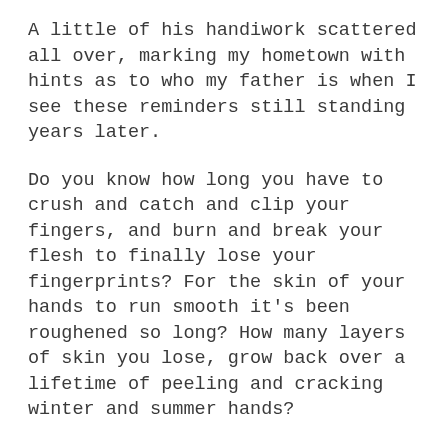A little of his handiwork scattered all over, marking my hometown with hints as to who my father is when I see these reminders still standing years later.
Do you know how long you have to crush and catch and clip your fingers, and burn and break your flesh to finally lose your fingerprints? For the skin of your hands to run smooth it's been roughened so long? How many layers of skin you lose, grow back over a lifetime of peeling and cracking winter and summer hands?
We regrow our bodies at the cellular level every seven years. I'd say these men regrew their hands every year. But for some